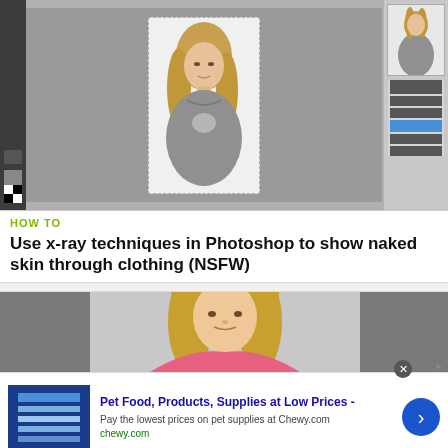[Figure (screenshot): Adobe Photoshop interface screenshot showing a photo of a blonde woman in a gray top being edited, with toolbar on left and layers panel on right]
HOW TO
Use x-ray techniques in Photoshop to show naked skin through clothing (NSFW)
[Figure (screenshot): Second Adobe Photoshop screenshot showing a blonde woman in a pink top with gray panels on sides]
Pet Food, Products, Supplies at Low Prices - Pay the lowest prices on pet supplies at Chewy.com chewy.com